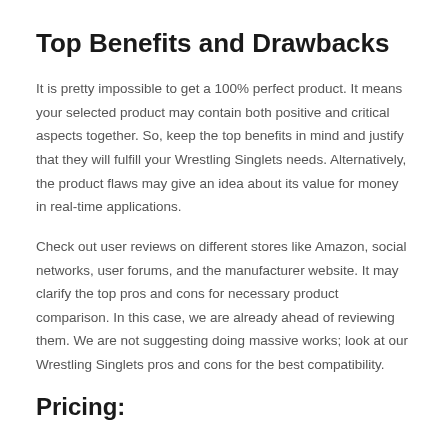Top Benefits and Drawbacks
It is pretty impossible to get a 100% perfect product. It means your selected product may contain both positive and critical aspects together. So, keep the top benefits in mind and justify that they will fulfill your Wrestling Singlets needs. Alternatively, the product flaws may give an idea about its value for money in real-time applications.
Check out user reviews on different stores like Amazon, social networks, user forums, and the manufacturer website. It may clarify the top pros and cons for necessary product comparison. In this case, we are already ahead of reviewing them. We are not suggesting doing massive works; look at our Wrestling Singlets pros and cons for the best compatibility.
Pricing: